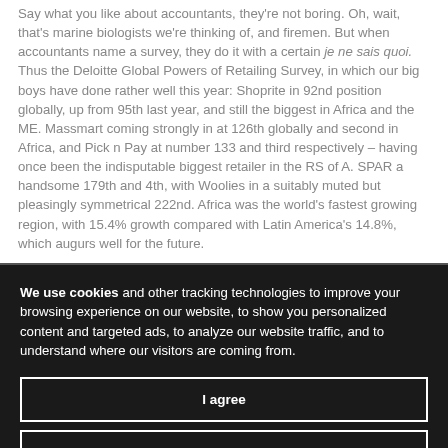Say what you like about accountants, they're not boring. Oh, wait, that's marine biologists we're thinking of, and firemen. But when accountants name a survey, they do it with a certain je ne sais quoi. Thus the Deloitte Global Powers of Retailing Survey, in which our big boys have done rather well this year: Shoprite in 92nd position globally, up from 95th last year, and still the biggest in Africa and the ME. Massmart coming strongly in at 126th globally and second in Africa, and Pick n Pay at number 133 and third respectively – having once been the indisputable biggest retailer in the RS of A. SPAR a handsome 179th and 4th, with Woolies in a suitably muted but pleasingly symmetrical 222nd. Africa was the world's fastest growing region, with 15.4% growth compared with Latin America's 14.8%, which augurs well for the future.
We use cookies and other tracking technologies to improve your browsing experience on our website, to show you personalized content and targeted ads, to analyze our website traffic, and to understand where our visitors are coming from.
I agree
I decline